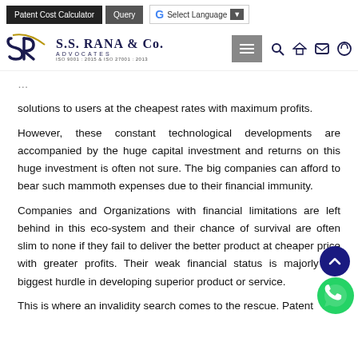Patent Cost Calculator | Query | G Select Language
[Figure (logo): S.S. Rana & Co. Advocates logo with SR monogram, ISO 9001:2015 & ISO 27001:2013 certification]
solutions to users at the cheapest rates with maximum profits.
However, these constant technological developments are accompanied by the huge capital investment and returns on this huge investment is often not sure. The big companies can afford to bear such mammoth expenses due to their financial immunity.
Companies and Organizations with financial limitations are left behind in this eco-system and their chance of survival are often slim to none if they fail to deliver the better product at cheaper price with greater profits. Their weak financial status is majorly the biggest hurdle in developing superior product or service.
This is where an invalidity search comes to the rescue. Patent